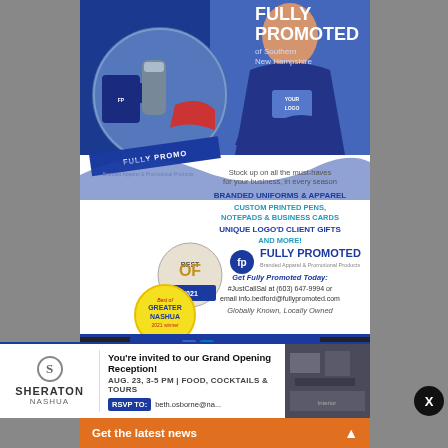[Figure (photo): Fully Promoted of Southern New Hampshire advertisement showing branded merchandise (mugs, tumblers, apparel), a smiling man in a navy polo with 'YOUR LOGO' placeholder, Best of 2021 award badge, and Best of Greater Nashua badge. Blue and white color scheme.]
FULLY PROMOTED
of Southern New Hampshire
Stock up on all the must-haves for your business, in every season
BRANDED UNIFORMS & APPAREL
CUSTOM PRINTED PENS, NOTEPADS & BUSINESS CARDS
UNIQUE LOGO'D CLIENT GIFTS
AND MORE!
FULLY PROMOTED
Branded Apparel & Promotional Products
Get Fully Promoted Today:
#JustCallSal at (603) 647-9994 or
email info.bedford@fullypromoted.com
Globally Known, Locally Owned
fullypromotedsnh.com
FULLY PROMOTED
603-647-9994
410 S RIVER RD SUITE 6
[Figure (photo): Sheraton Nashua Grand Opening Reception advertisement. Sheraton logo with S in circle. Text: You're invited to our Grand Opening Reception! AUG. 23, 3-5 PM | FOOD, COCKTAILS & TOURS. RSVP TO: beth.osborne@na... Interior hotel room image on right side.]
Get the latest news